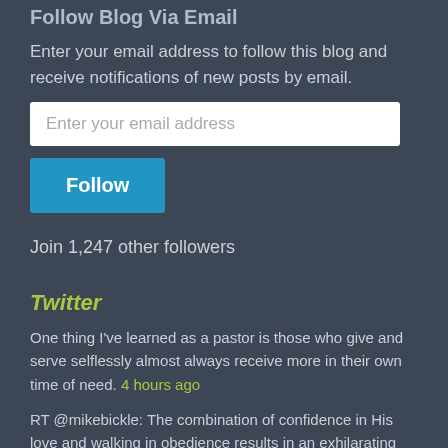Follow Blog Via Email
Enter your email address to follow this blog and receive notifications of new posts by email.
Enter your email address
Follow
Join 1,247 other followers
Twitter
One thing I've learned as a pastor is those who give and serve selflessly almost always receive more in their own time of need. 4 hours ago
RT @mikebickle: The combination of confidence in His love and walking in obedience results in an exhilarating quality of life called joy. 2 days ago